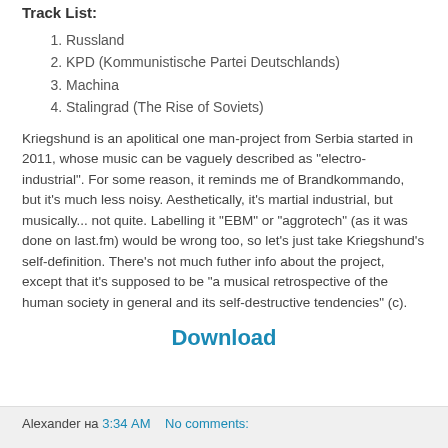Track List:
1. Russland
2. KPD (Kommunistische Partei Deutschlands)
3. Machina
4. Stalingrad (The Rise of Soviets)
Kriegshund is an apolitical one man-project from Serbia started in 2011, whose music can be vaguely described as "electro-industrial". For some reason, it reminds me of Brandkommando, but it's much less noisy. Aesthetically, it's martial industrial, but musically... not quite. Labelling it "EBM" or "aggrotech" (as it was done on last.fm) would be wrong too, so let's just take Kriegshund's self-definition. There's not much futher info about the project, except that it's supposed to be "a musical retrospective of the human society in general and its self-destructive tendencies" (c).
Download
Alexander на 3:34 AM   No comments: